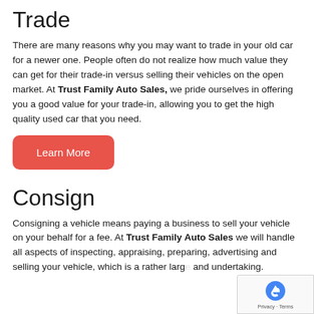Trade
There are many reasons why you may want to trade in your old car for a newer one. People often do not realize how much value they can get for their trade-in versus selling their vehicles on the open market. At Trust Family Auto Sales, we pride ourselves in offering you a good value for your trade-in, allowing you to get the high quality used car that you need.
Learn More
Consign
Consigning a vehicle means paying a business to sell your vehicle on your behalf for a fee. At Trust Family Auto Sales we will handle all aspects of inspecting, appraising, preparing, advertising and selling your vehicle, which is a rather large and undertaking.